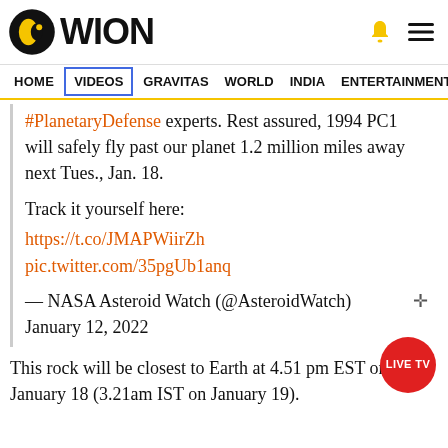WION
HOME  VIDEOS  GRAVITAS  WORLD  INDIA  ENTERTAINMENT  SPORTS
#PlanetaryDefense experts. Rest assured, 1994 PC1 will safely fly past our planet 1.2 million miles away next Tues., Jan. 18.
Track it yourself here:
https://t.co/JMAPWiirZh
pic.twitter.com/35pgUb1anq
— NASA Asteroid Watch (@AsteroidWatch) January 12, 2022
This rock will be closest to Earth at 4.51 pm EST on January 18 (3.21am IST on January 19).